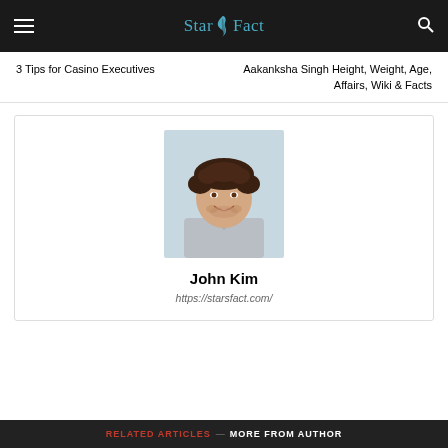StarSFact
3 Tips for Casino Executives
Aakanksha Singh Height, Weight, Age, Affairs, Wiki & Facts
[Figure (photo): Portrait photo of a young man with curly dark hair, smiling, wearing a light grey v-neck sweater, author profile photo for John Kim]
John Kim
https://starsfact.com/
RELATED ARTICLES — MORE FROM AUTHOR